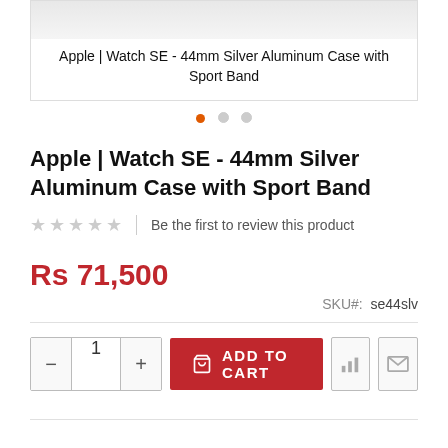[Figure (screenshot): Product image card showing Apple Watch SE top portion, partially cropped]
Apple | Watch SE - 44mm Silver Aluminum Case with Sport Band
Apple | Watch SE - 44mm Silver Aluminum Case with Sport Band
Be the first to review this product
Rs 71,500
SKU#: se44slv
ADD TO CART